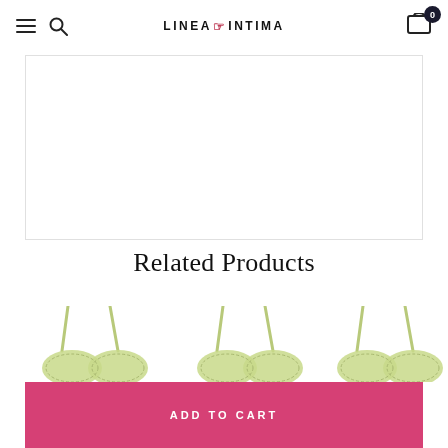LINEA INTIMA — navigation header with menu, search, logo, and cart
Related Products
[Figure (photo): Three light green/sage colored lace bras displayed side by side on white background]
ADD TO CART